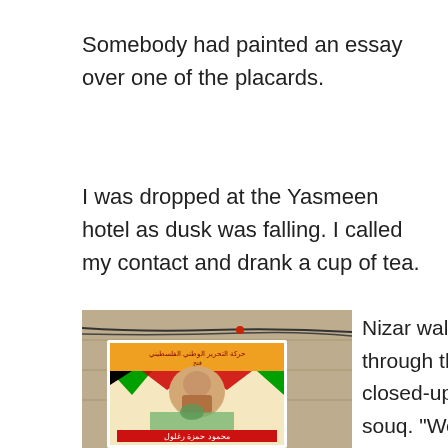Somebody had painted an essay over one of the placards.
I was dropped at the Yasmeen hotel as dusk was falling. I called my contact and drank a cup of tea.
[Figure (photo): A Palestinian political poster/placard leaning against a stone wall, featuring Arabic text, a Palestinian flag motif, a photo of a child, and a mosque image, with electrical wires visible above.]
Nizar walked me through the closed-up Nablus souq. “We’re living here temporarily,” he said. “Maybe there’ll be peace for a couple of